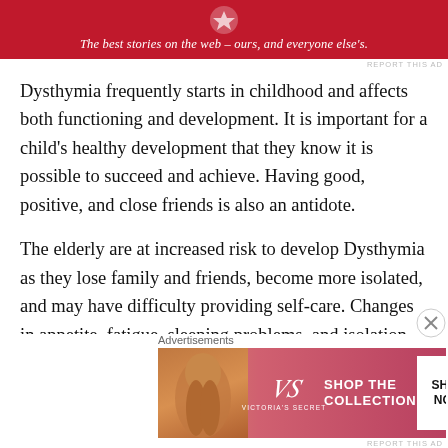[Figure (other): Red advertisement banner with logo and italic text: 'The best stories on the web – ours, and everyone else's.']
Dysthymia frequently starts in childhood and affects both functioning and development. It is important for a child's healthy development that they know it is possible to succeed and achieve. Having good, positive, and close friends is also an antidote.
The elderly are at increased risk to develop Dysthymia as they lose family and friends, become more isolated, and may have difficulty providing self-care. Changes in appetite, fatigue, sleeping problems, and isolation can all be mistaken for the usual results of aging instead of being
Advertisements
[Figure (other): Victoria's Secret advertisement with model, VS logo, 'SHOP THE COLLECTION' text, and 'SHOP NOW' button.]